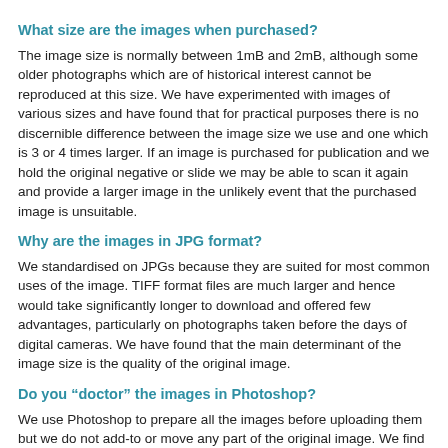What size are the images when purchased?
The image size is normally between 1mB and 2mB, although some older photographs which are of historical interest cannot be reproduced at this size. We have experimented with images of various sizes and have found that for practical purposes there is no discernible difference between the image size we use and one which is 3 or 4 times larger. If an image is purchased for publication and we hold the original negative or slide we may be able to scan it again and provide a larger image in the unlikely event that the purchased image is unsuitable.
Why are the images in JPG format?
We standardised on JPGs because they are suited for most common uses of the image. TIFF format files are much larger and hence would take significantly longer to download and offered few advantages, particularly on photographs taken before the days of digital cameras. We have found that the main determinant of the image size is the quality of the original image.
Do you “doctor” the images in Photoshop?
We use Photoshop to prepare all the images before uploading them but we do not add-to or move any part of the original image. We find many negatives and slides which, although at first sight high quality, often are scratched and sometimes have water or light damage. We always rectify these problems as far as practical so that the image is provided in the best possible condition.
We may have to lighten, or occasionally darken, an original but the purchaser